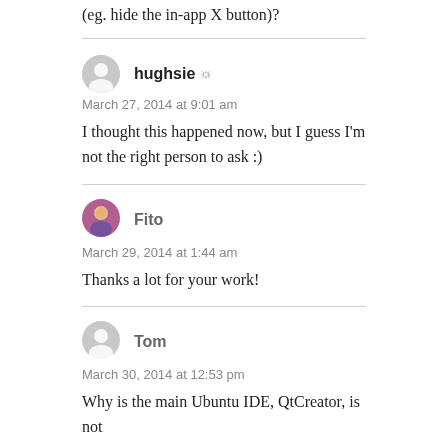(eg. hide the in-app X button)?
hughsie
March 27, 2014 at 9:01 am
I thought this happened now, but I guess I'm not the right person to ask :)
Fito
March 29, 2014 at 1:44 am
Thanks a lot for your work!
Tom
March 30, 2014 at 12:53 pm
Why is the main Ubuntu IDE, QtCreator, is not